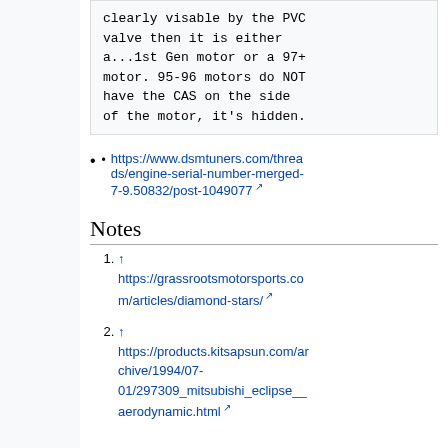clearly visable by the PVC valve then it is either a...1st Gen motor or a 97+ motor. 95-96 motors do NOT have the CAS on the side of the motor, it's hidden.
https://www.dsmtuners.com/threads/engine-serial-number-merged-7-9.50832/post-1049077
Notes
↑ https://grassrootsmotorsports.com/articles/diamond-stars/
↑ https://products.kitsapsun.com/archive/1994/07-01/297309_mitsubishi_eclipse__aerodynamic.html